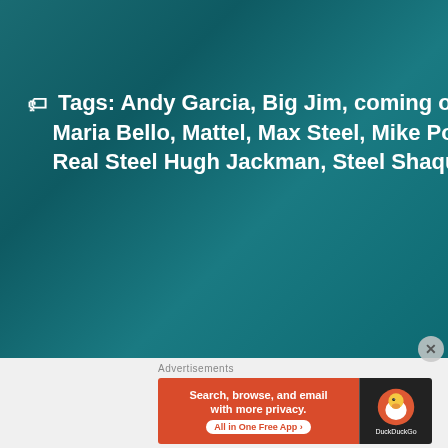Tags: Andy Garcia, Big Jim, coming of age movies, G.I. Joe, Maria Bello, Mattel, Max Steel, Mike Power the Atomic Ma... Real Steel Hugh Jackman, Steel Shaquille O'Neil
[Figure (screenshot): DuckDuckGo advertisement banner: orange left panel with text 'Search, browse, and email with more privacy. All in One Free App', dark right panel with DuckDuckGo duck logo]